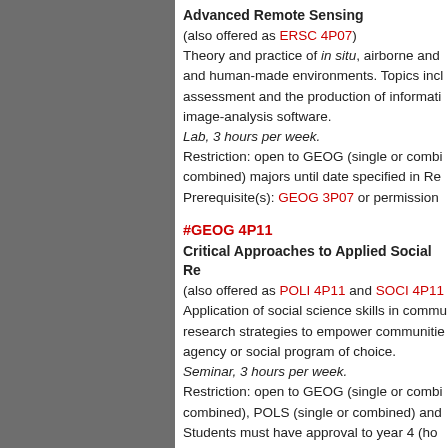Advanced Remote Sensing
(also offered as ERSC 4P07)
Theory and practice of in situ, airborne and and human-made environments. Topics incl assessment and the production of informati image-analysis software.
Lab, 3 hours per week.
Restriction: open to GEOG (single or combi combined) majors until date specified in Re Prerequisite(s): GEOG 3P07 or permission
#GEOG 4P11
Critical Approaches to Applied Social Re
(also offered as POLI 4P11 and SOCI 4P11 Application of social science skills in commu research strategies to empower communitie agency or social program of choice.
Seminar, 3 hours per week.
Restriction: open to GEOG (single or combi combined), POLS (single or combined) and Students must have approval to year 4 (ho Prerequisite(s): one of GEOG 2P10, 2P12, Administrator.